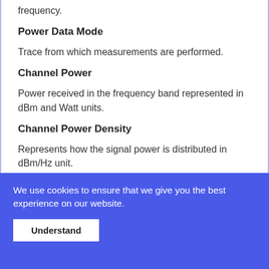frequency.
Power Data Mode
Trace from which measurements are performed.
Channel Power
Power received in the frequency band represented in dBm and Watt units.
Channel Power Density
Represents how the signal power is distributed in dBm/Hz unit.
We use cookies to ensure that we give you the best experience on our website.